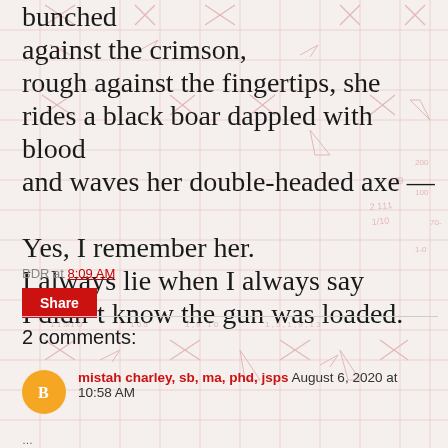bunched against the crimson, rough against the fingertips, she rides a black boar dappled with blood and waves her double-headed axe —

Yes, I remember her.
I always lie when I always say
I didn't know the gun was loaded.
BDR at 8:09 AM
Share
2 comments:
mistah charley, sb, ma, phd, jsps August 6, 2020 at 10:58 AM